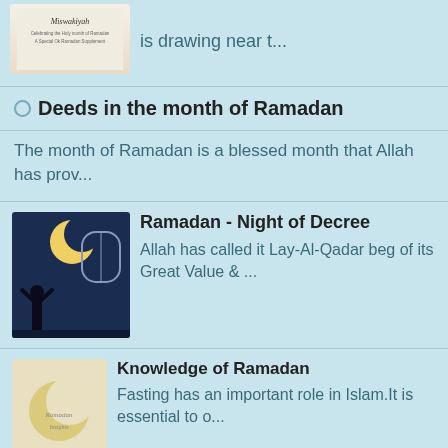[Figure (screenshot): Partial top card with Miswakiyah thumbnail and truncated text 'is drawing near t...']
Deeds in the month of Ramadan
The month of Ramadan is a blessed month that Allah has prov...
[Figure (screenshot): Ramadan Night of Decree card with dark night scene thumbnail showing moon and silhouette]
Ramadan - Night of Decree
Allah has called it Lay-Al-Qadar beg of its Great Value & ...
[Figure (screenshot): Knowledge of Ramadan card with crescent moon decorative thumbnail]
Knowledge of Ramadan
Fasting has an important role in Islam.It is essential to o...
[Figure (screenshot): Ramadan - The Divine Month card with green Ramadan Kareem 2022 decorative image with lanterns]
Ramadan – The Divine Month
Ramadan, a month of holy cause, the month of understanding ...
Fasting